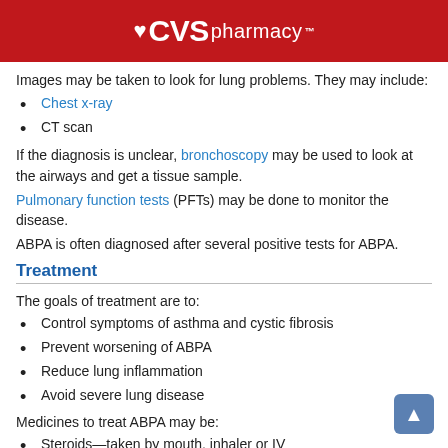CVS pharmacy™
Images may be taken to look for lung problems. They may include:
Chest x-ray
CT scan
If the diagnosis is unclear, bronchoscopy may be used to look at the airways and get a tissue sample.
Pulmonary function tests (PFTs) may be done to monitor the disease.
ABPA is often diagnosed after several positive tests for ABPA.
Treatment
The goals of treatment are to:
Control symptoms of asthma and cystic fibrosis
Prevent worsening of ABPA
Reduce lung inflammation
Avoid severe lung disease
Medicines to treat ABPA may be:
Steroids—taken by mouth, inhaler or IV
Antifungal drugs—to kills the fungus
Bronchodilators—to open the airways